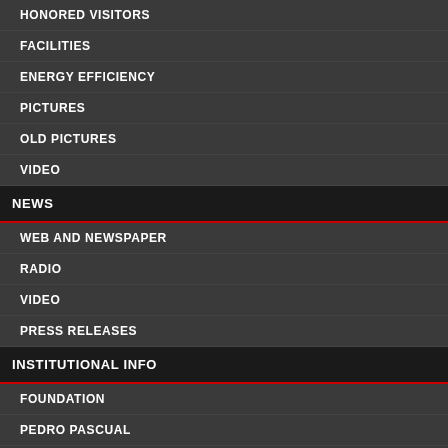HONORED VISITORS
FACILITIES
ENERGY EFFICIENCY
PICTURES
OLD PICTURES
VIDEO
NEWS
WEB AND NEWSPAPER
RADIO
VIDEO
PRESS RELEASES
INSTITUTIONAL INFO
FOUNDATION
PEDRO PASCUAL
JOBS
J. L. Miramontes (U. S...) (SISSA), P. Pearce (U...
Fronteras en la te...
2010, July 4 - July 9...
J. M. Barat (UPV), F. I...
Supersymmetric C...
2010, July 18 - July...
L. M. Nieto (U. Vallad...), Smilga (SUBATECH,...
Modern Cosmolo...
2010, August 1 - Au...
J. García-Bellido (U. A...) (Fermilab, Chicago)
Taller de Altas En...
2010, August 31 - S...
J. I. Latorre (Universit...